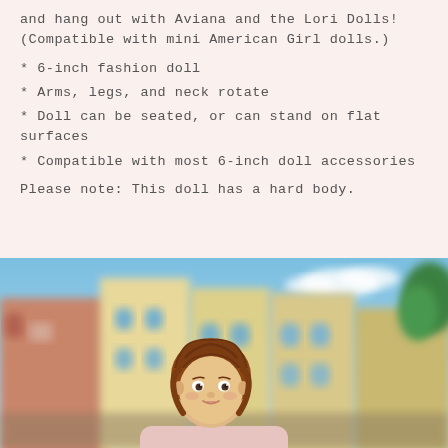and hang out with Aviana and the Lori Dolls! (Compatible with mini American Girl dolls.)
* 6-inch fashion doll
* Arms, legs, and neck rotate
* Doll can be seated, or can stand on flat surfaces
* Compatible with most 6-inch doll accessories
Please note: This doll has a hard body.
[Figure (photo): Photo of a Lori Doll (Aviana) with auburn braided hair, positioned in front of a blurred colorful townhouse street scene background with blue sky.]